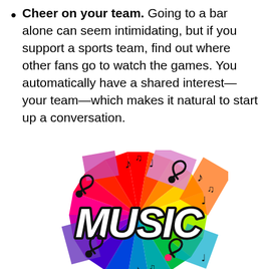Cheer on your team. Going to a bar alone can seem intimidating, but if you support a sports team, find out where other fans go to watch the games. You automatically have a shared interest—your team—which makes it natural to start up a conversation.
[Figure (illustration): Colorful music illustration with the word MUSIC in bold black lettering surrounded by musical notes and swirls on a rainbow starburst background]